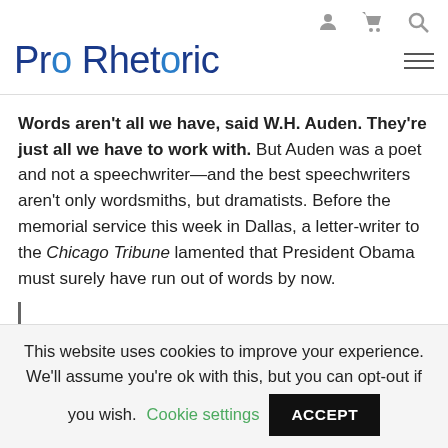Pro Rhetoric
Words aren't all we have, said W.H. Auden. They're just all we have to work with. But Auden was a poet and not a speechwriter—and the best speechwriters aren't only wordsmiths, but dramatists. Before the memorial service this week in Dallas, a letter-writer to the Chicago Tribune lamented that President Obama must surely have run out of words by now.
This website uses cookies to improve your experience. We'll assume you're ok with this, but you can opt-out if you wish. Cookie settings ACCEPT